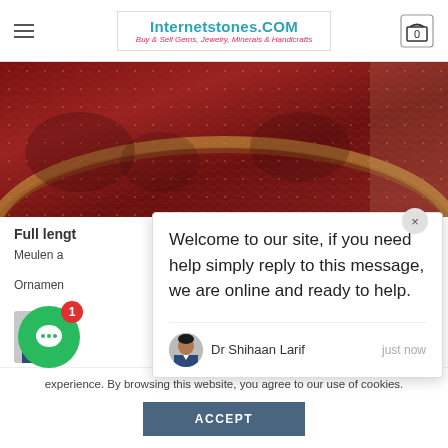Internetstones.COM - Buy & Sell Gems, Jewelry, Minerals & Handicrafts
[Figure (photo): Close-up of an ornate red textile or garment with decorative braided trim and embroidery]
Full lengt
Meulen a
Ornamer
T.
Welcome to our site, if you need help simply reply to this message, we are online and ready to help.
Dr Shihaan Larif   just now
experience. By browsing this website, you agree to our use of cookies.
ACCEPT